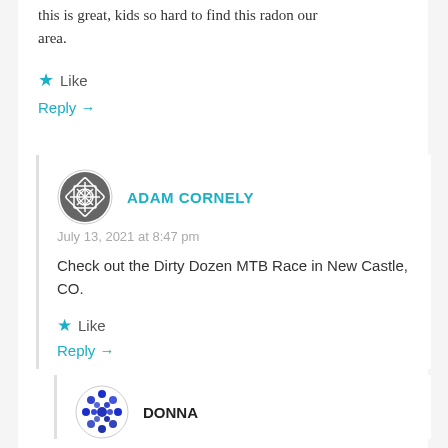this is great, kids so hard to find this radon our area.
★ Like
Reply →
ADAM CORNELY
July 13, 2021 at 8:47 pm
Check out the Dirty Dozen MTB Race in New Castle, CO.
★ Like
Reply →
DONNA